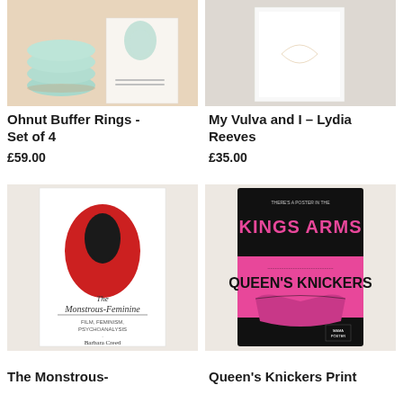[Figure (photo): Ohnut Buffer Rings product photo - stacked teal rings next to a box with abstract design on beige background]
Ohnut Buffer Rings - Set of 4
£59.00
[Figure (photo): My Vulva and I by Lydia Reeves - white book/art print on light background]
My Vulva and I - Lydia Reeves
£35.00
[Figure (photo): The Monstrous-Feminine book cover - white cover with red oval and black figure, by Barbara Creed]
The Monstrous-
[Figure (photo): Queen's Knickers Print - black and pink poster showing pink knickers with Kings Arms Queen's Knickers text]
Queen's Knickers Print